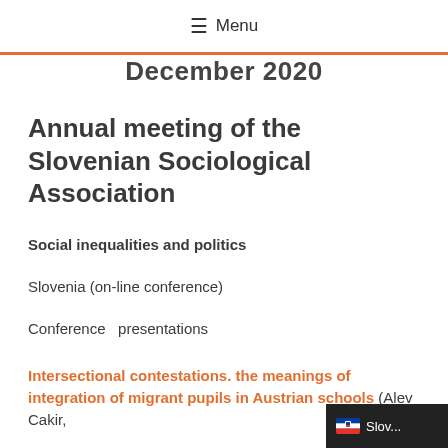≡ Menu
December 2020
Annual meeting of the Slovenian Sociological Association
Social inequalities and politics
Slovenia (on-line conference)
Conference  presentations
Intersectional contestations. the meanings of integration of migrant pupils in Austrian schools (Alev Cakir,